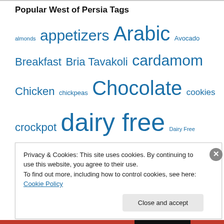Popular West of Persia Tags
almonds appetizers Arabic Avocado Breakfast Bria Tavakoli cardamom Chicken chickpeas Chocolate cookies crockpot dairy free Dairy Free Possible dates dessert dips Easy Eggplant Eggs Fast Figs Fitness Fruit Garlic gluten free Healthy Holidays Iranian
Privacy & Cookies: This site uses cookies. By continuing to use this website, you agree to their use. To find out more, including how to control cookies, see here: Cookie Policy
Close and accept